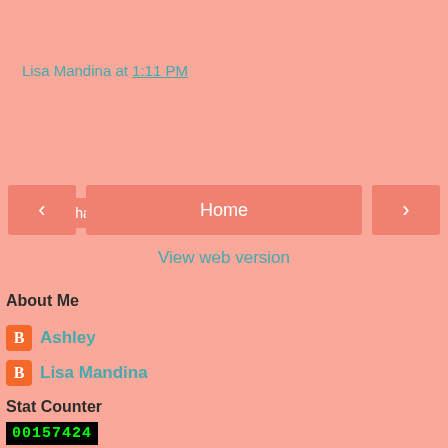Lisa Mandina at 1:11 PM
[Figure (screenshot): Share button - salmon colored rectangular button with white text 'Share']
[Figure (screenshot): Navigation bar with left arrow, Home button, and right arrow, all salmon colored]
View web version
About Me
Ashley
Lisa Mandina
Stat Counter
00157424
Powered by Blogger.